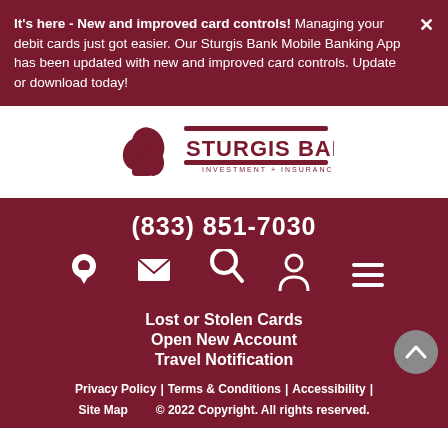It's here - New and improved card controls! Managing your debit cards just got easier.  Our Sturgis Bank Mobile Banking App has been updated with new and improved card controls.  Update or download today!
[Figure (logo): Sturgis Bank logo with acorn/leaf graphic and text 'STURGIS BANK INVESTMENT + INSURANCE + TRUST']
(833) 851-7030
[Figure (infographic): Icon row with location pin, envelope/mail, magnifying glass/search, person/account, and hamburger menu icons]
Lost or Stolen Cards
Open New Account
Travel Notification
Privacy Policy | Terms & Conditions | Accessibility | Site Map   © 2022 Copyright. All rights reserved.